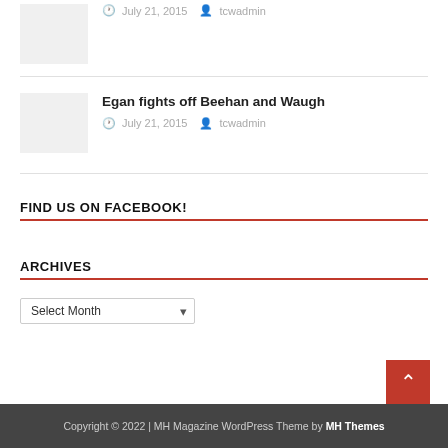[Figure (photo): Thumbnail image placeholder (light gray box)]
July 21, 2015   tcwadmin
Egan fights off Beehan and Waugh
July 21, 2015   tcwadmin
FIND US ON FACEBOOK!
ARCHIVES
Select Month
Copyright © 2022 | MH Magazine WordPress Theme by MH Themes